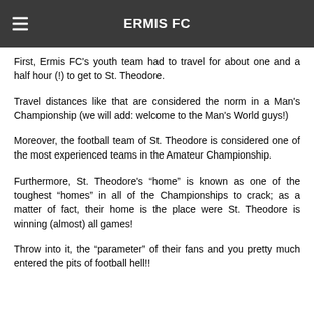ERMIS FC
First, Ermis FC's youth team had to travel for about one and a half hour (!) to get to St. Theodore.
Travel distances like that are considered the norm in a Man's Championship (we will add: welcome to the Man's World guys!)
Moreover, the football team of St. Theodore is considered one of the most experienced teams in the Amateur Championship.
Furthermore, St. Theodore's “home” is known as one of the toughest “homes” in all of the Championships to crack; as a matter of fact, their home is the place were St. Theodore is winning (almost) all games!
Throw into it, the “parameter” of their fans and you pretty much entered the pits of football hell!